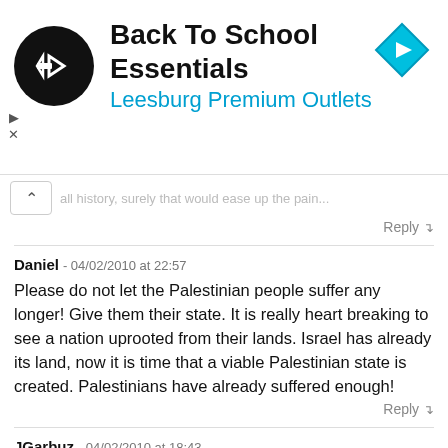[Figure (other): Advertisement banner for Back To School Essentials at Leesburg Premium Outlets, with circular black logo with arrow icon and blue diamond navigation icon on the right. Small play/X controls on the left side.]
...all history, surely that would ease up the pain...
Reply ↲
Daniel - 04/02/2010 at 22:57
Please do not let the Palestinian people suffer any longer! Give them their state. It is really heart breaking to see a nation uprooted from their lands. Israel has already its land, now it is time that a viable Palestinian state is created. Palestinians have already suffered enough!
Reply ↲
JGarbuz - 04/02/2010 at 18:43
The science of Genomics and DNA analysis has proved that the majority of Jews (over 50%) are of Middle Eastern